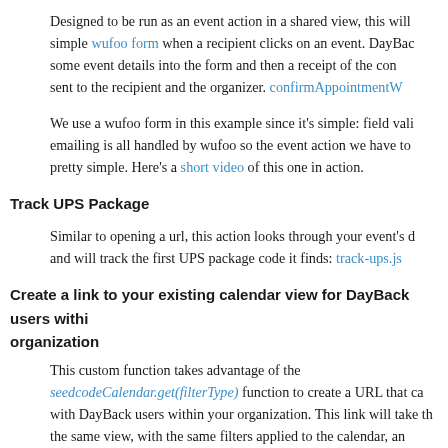Designed to be run as an event action in a shared view, this will simple wufoo form when a recipient clicks on an event. DayBac some event details into the form and then a receipt of the con sent to the recipient and the organizer. confirmAppointmentW
We use a wufoo form in this example since it's simple: field vali emailing is all handled by wufoo so the event action we have to pretty simple. Here's a short video of this one in action.
Track UPS Package
Similar to opening a url, this action looks through your event's d and will track the first UPS package code it finds: track-ups.js
Create a link to your existing calendar view for DayBack users withi organization
This custom function takes advantage of the seedcodeCalendar.get(filterType) function to create a URL that ca with DayBack users within your organization. This link will take th the same view, with the same filters applied to the calendar, an the same event you have open: CreateInternalURL.js
Validate Field Data Entry